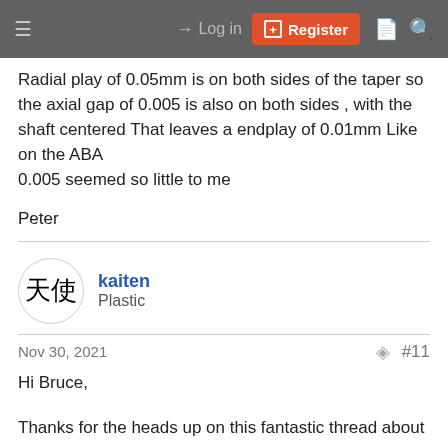Log in | Register
Radial play of 0.05mm is on both sides of the taper so the axial gap of 0.005 is also on both sides , with the shaft centered That leaves a endplay of 0.01mm Like on the ABA
0.005 seemed so little to me
Peter
[Figure (illustration): User avatar circle with Chinese characters (kanji) inside]
kaiten
Plastic
Nov 30, 2021  #11
Hi Bruce,
Thanks for the heads up on this fantastic thread about